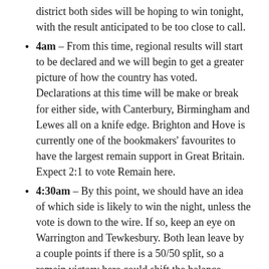district both sides will be hoping to win tonight, with the result anticipated to be too close to call.
4am – From this time, regional results will start to be declared and we will begin to get a greater picture of how the country has voted. Declarations at this time will be make or break for either side, with Canterbury, Birmingham and Lewes all on a knife edge. Brighton and Hove is currently one of the bookmakers' favourites to have the largest remain support in Great Britain. Expect 2:1 to vote Remain here.
4:30am – By this point, we should have an idea of which side is likely to win the night, unless the vote is down to the wire. If so, keep an eye on Warrington and Tewkesbury. Both lean leave by a couple points if there is a 50/50 split, so a remain victory here could shift the balance.
5am – Pace of declarations will slow a lot now, with the